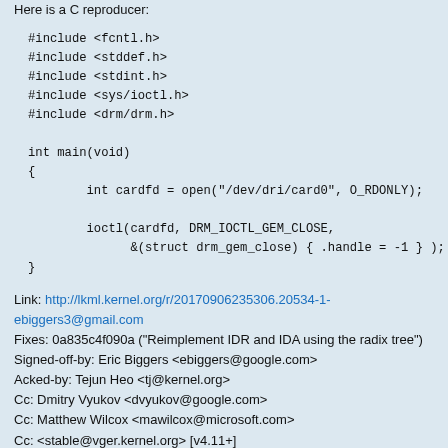Here is a C reproducer:
#include <fcntl.h>
#include <stddef.h>
#include <stdint.h>
#include <sys/ioctl.h>
#include <drm/drm.h>

int main(void)
{
        int cardfd = open("/dev/dri/card0", O_RDONLY);

        ioctl(cardfd, DRM_IOCTL_GEM_CLOSE,
              &(struct drm_gem_close) { .handle = -1 } );
}
Link: http://lkml.kernel.org/r/20170906235306.20534-1-ebiggers3@gmail.com
Fixes: 0a835c4f090a ("Reimplement IDR and IDA using the radix tree")
Signed-off-by: Eric Biggers <ebiggers@google.com>
Acked-by: Tejun Heo <tj@kernel.org>
Cc: Dmitry Vyukov <dvyukov@google.com>
Cc: Matthew Wilcox <mawilcox@microsoft.com>
Cc: <stable@vger.kernel.org> [v4.11+]
Signed-off-by: Andrew Morton <akpm@linux-foundation.org>